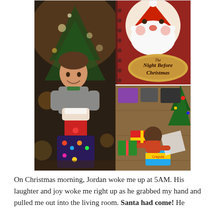[Figure (photo): A photo collage of three Christmas morning photos: left large photo shows a young boy smiling holding a Christmas stocking in front of a decorated Christmas tree; top right shows a close-up of a 'The Night Before Christmas' book cover with Santa Claus; bottom right shows a child sitting on the floor opening Christmas presents.]
On Christmas morning, Jordan woke me up at 5AM. His laughter and joy woke me right up as he grabbed my hand and pulled me out into the living room. Santa had come! He